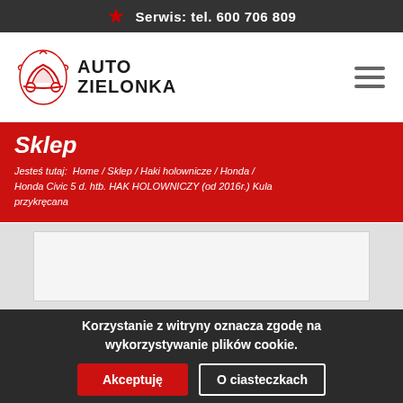Serwis: tel. 600 706 809
[Figure (logo): Auto Zielonka car service logo with red car illustration and bold text AUTO ZIELONKA]
Sklep
Jesteś tutaj: Home / Sklep / Haki holownicze / Honda / Honda Civic 5 d. htb. HAK HOLOWNICZY (od 2016r.) Kula przykręcana
[Figure (photo): Product image placeholder box, white/light gray rectangle]
Korzystanie z witryny oznacza zgodę na wykorzystywanie plików cookie.